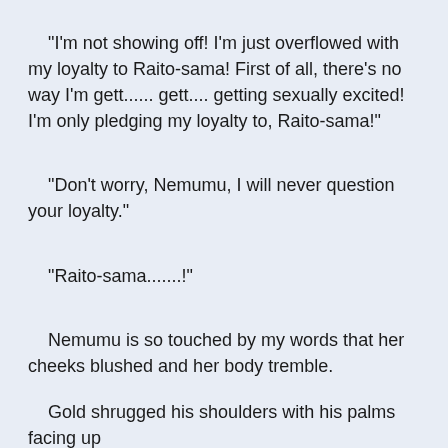"I'm not showing off! I'm just overflowed with my loyalty to Raito-sama! First of all, there's no way I'm gett...... gett.... getting sexually excited! I'm only pledging my loyalty to, Raito-sama!"
"Don't worry, Nemumu, I will never question your loyalty."
"Raito-sama.......!"
Nemumu is so touched by my words that her cheeks blushed and her body tremble.
Gold shrugged his shoulders with his palms facing up